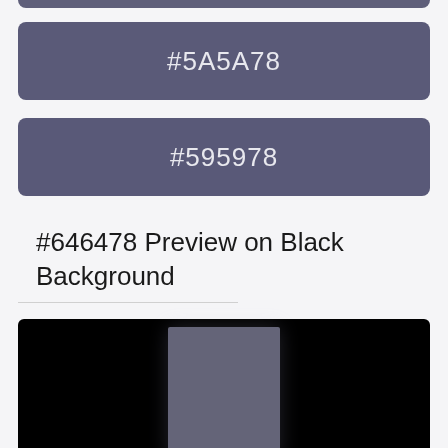[Figure (infographic): Color swatch showing #5A5A78 as a rounded rectangle with hex code label in white text on a medium blue-gray/purple background]
[Figure (infographic): Color swatch showing #595978 as a rounded rectangle with hex code label in white text on a medium blue-gray/purple background]
#646478 Preview on Black Background
[Figure (illustration): Black background preview panel showing a #646478 colored rectangle centered on a black background]